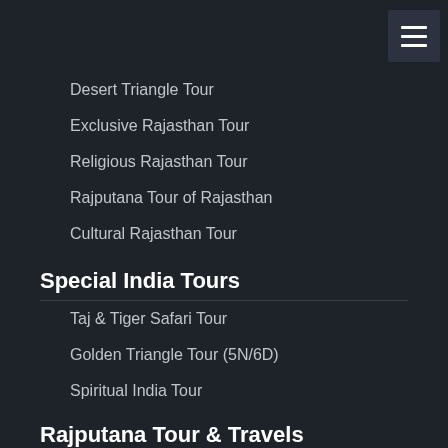Desert Triangle Tour
Exclusive Rajasthan Tour
Religious Rajasthan Tour
Rajputana Tour of Rajasthan
Cultural Rajasthan Tour
Special India Tours
Taj & Tiger Safari Tour
Golden Triangle Tour (5N/6D)
Spiritual India Tour
Classical India Tour
Best of India Tour
India Wildlife Tour
Rajputana Tour & Travels